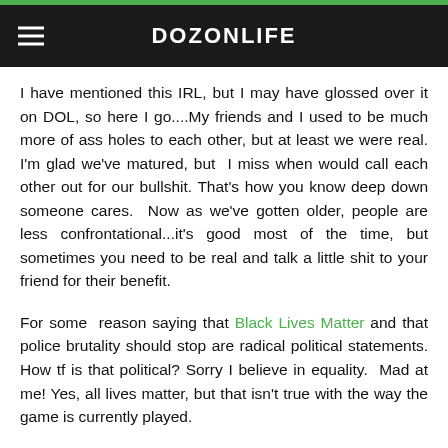DOZONLIFE
I have mentioned this IRL, but I may have glossed over it on DOL, so here I go....My friends and I used to be much more of ass holes to each other, but at least we were real. I'm glad we've matured, but I miss when would call each other out for our bullshit. That's how you know deep down someone cares. Now as we've gotten older, people are less confrontational...it's good most of the time, but sometimes you need to be real and talk a little shit to your friend for their benefit.
For some reason saying that Black Lives Matter and that police brutality should stop are radical political statements. How tf is that political? Sorry I believe in equality. Mad at me! Yes, all lives matter, but that isn't true with the way the game is currently played.